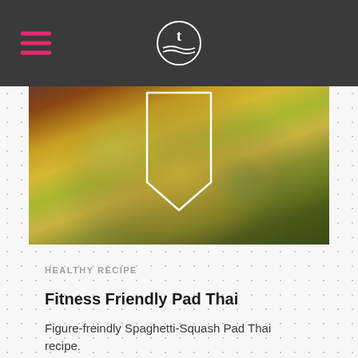Navigation bar with hamburger menu and logo
[Figure (photo): Overhead shot of a spaghetti squash pad thai dish in a dark bowl, showing yellow squash strands, green vegetables, and mixed ingredients]
HEALTHY RECIPE
Fitness Friendly Pad Thai
Figure-freindly Spaghetti-Squash Pad Thai recipe.